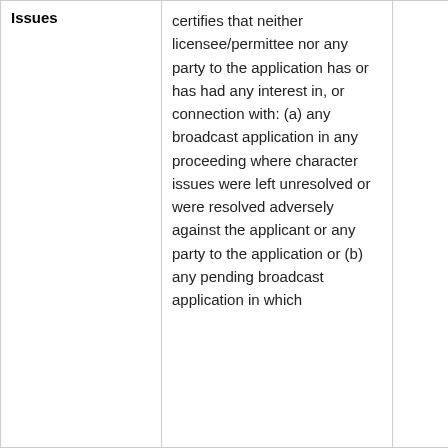| Issues | Content |  |
| --- | --- | --- |
| Issues | certifies that neither licensee/permittee nor any party to the application has or has had any interest in, or connection with: (a) any broadcast application in any proceeding where character issues were left unresolved or were resolved adversely against the applicant or any party to the application or (b) any pending broadcast application in which |  |